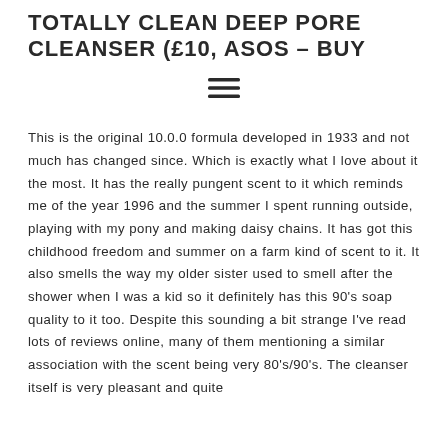TOTALLY CLEAN DEEP PORE CLEANSER (£10, ASOS – BUY
[Figure (other): Hamburger menu icon with three horizontal lines]
This is the original 10.0.0 formula developed in 1933 and not much has changed since. Which is exactly what I love about it the most. It has the really pungent scent to it which reminds me of the year 1996 and the summer I spent running outside, playing with my pony and making daisy chains. It has got this childhood freedom and summer on a farm kind of scent to it. It also smells the way my older sister used to smell after the shower when I was a kid so it definitely has this 90's soap quality to it too. Despite this sounding a bit strange I've read lots of reviews online, many of them mentioning a similar association with the scent being very 80's/90's. The cleanser itself is very pleasant and quite